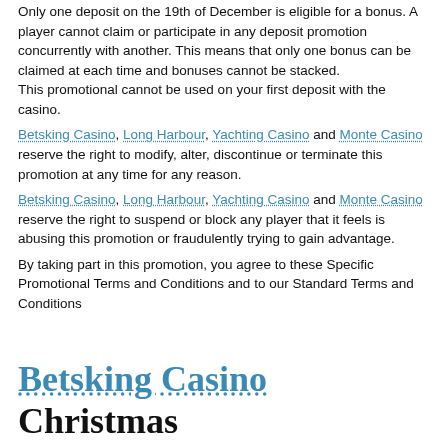Only one deposit on the 19th of December is eligible for a bonus. A player cannot claim or participate in any deposit promotion concurrently with another. This means that only one bonus can be claimed at each time and bonuses cannot be stacked. This promotional cannot be used on your first deposit with the casino.
Betsking Casino, Long Harbour, Yachting Casino and Monte Casino reserve the right to modify, alter, discontinue or terminate this promotion at any time for any reason.
Betsking Casino, Long Harbour, Yachting Casino and Monte Casino reserve the right to suspend or block any player that it feels is abusing this promotion or fraudulently trying to gain advantage.
By taking part in this promotion, you agree to these Specific Promotional Terms and Conditions and to our Standard Terms and Conditions
Betsking Casino Christmas